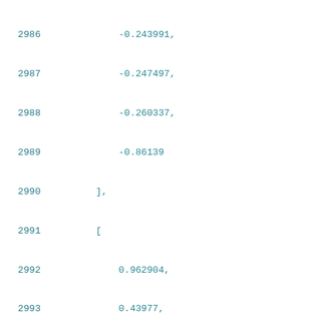2986    -0.243991,
2987    -0.247497,
2988    -0.260337,
2989    -0.86139
2990    ],
2991    [
2992        0.962904,
2993        0.43977,
2994        0.17709,
2995        0.0882004,
2996        1.3191e-09,
2997        -0.0427354,
2998        -0.0831033,
2999        -0.120918,
3000        -0.155905,
3001        -0.187495,
3002        -0.214268,
3003        -0.23408,
3004        -0.247132,
3005        -0.255941,
3006        -0.262419,